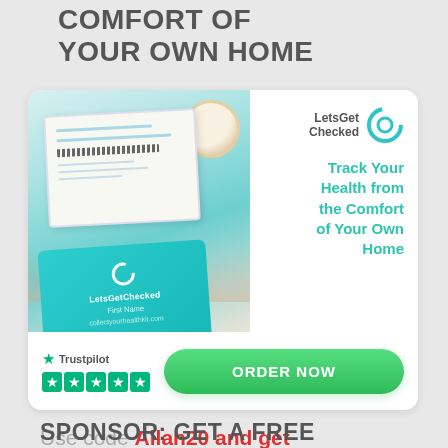COMFORT OF YOUR OWN HOME
[Figure (illustration): LetsGetChecked advertisement card showing a health test kit box being opened, with a teal-colored test kit inside labeled LetsGetChecked, a coffee cup in the background, Trustpilot 5-star rating, and an ORDER NOW green button. Tagline: Track Your Health from the Comfort of Your Own Home.]
Use code Allan20 and get 20% Off!
SPONSOR: GET A FREE